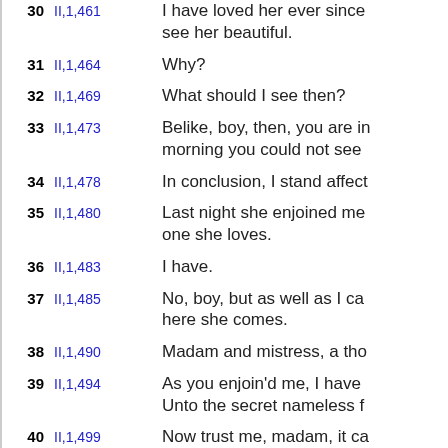30  II,1,461  I have loved her ever since see her beautiful.
31  II,1,464  Why?
32  II,1,469  What should I see then?
33  II,1,473  Belike, boy, then, you are in morning you could not see
34  II,1,478  In conclusion, I stand affect
35  II,1,480  Last night she enjoined me one she loves.
36  II,1,483  I have.
37  II,1,485  No, boy, but as well as I ca here she comes.
38  II,1,490  Madam and mistress, a tho
39  II,1,494  As you enjoin'd me, I have Unto the secret nameless f
40  II,1,499  Now trust me, madam, it ca For being ignorant to whom